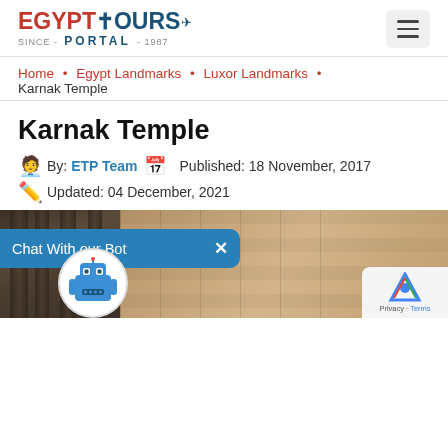Egypt Tours Portal - Since 1987
Home • Egypt Landmarks • Luxor Landmarks • Karnak Temple
Karnak Temple
By: ETP Team  Published: 18 November, 2017
Updated: 04 December, 2021
[Figure (photo): Karnak Temple stone columns and walls photograph]
Chat With our Bot  X